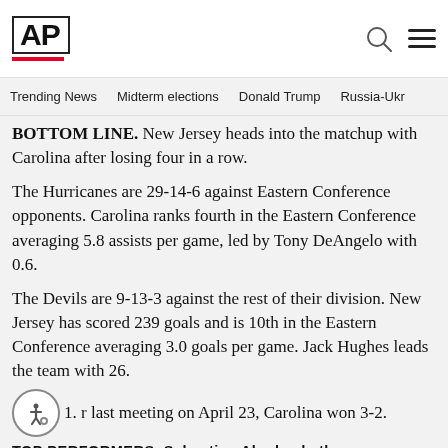AP
Trending News   Midterm elections   Donald Trump   Russia-Ukr
BOTTOM LINE. New Jersey heads into the matchup with Carolina after losing four in a row.
The Hurricanes are 29-14-6 against Eastern Conference opponents. Carolina ranks fourth in the Eastern Conference averaging 5.8 assists per game, led by Tony DeAngelo with 0.6.
The Devils are 9-13-3 against the rest of their division. New Jersey has scored 239 goals and is 10th in the Eastern Conference averaging 3.0 goals per game. Jack Hughes leads the team with 26.
1. r last meeting on April 23, Carolina won 3-2.
TOP PERFORMERS. Sebastian Aho leads the...